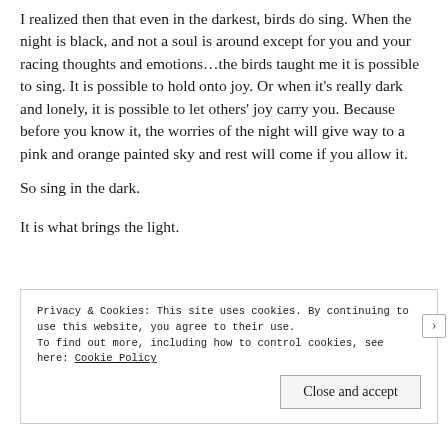I realized then that even in the darkest, birds do sing. When the night is black, and not a soul is around except for you and your racing thoughts and emotions…the birds taught me it is possible to sing. It is possible to hold onto joy. Or when it's really dark and lonely, it is possible to let others' joy carry you. Because before you know it, the worries of the night will give way to a pink and orange painted sky and rest will come if you allow it.
So sing in the dark.
It is what brings the light.
Privacy & Cookies: This site uses cookies. By continuing to use this website, you agree to their use.
To find out more, including how to control cookies, see here: Cookie Policy
Close and accept